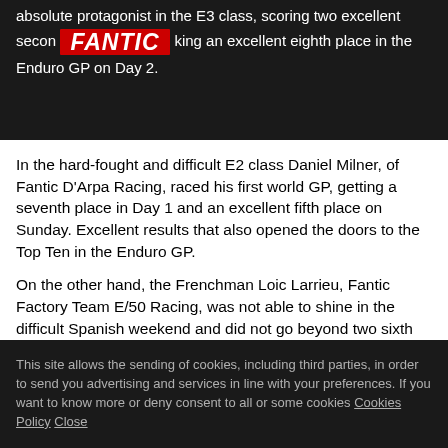absolute protagonist in the E3 class, scoring two excellent second [Fantic logo] making an excellent eighth place in the Enduro GP on Day 2.
[Figure (logo): Fantic logo in red with stylized italic lettering]
In the hard-fought and difficult E2 class Daniel Milner, of Fantic D'Arpa Racing, raced his first world GP, getting a seventh place in Day 1 and an excellent fifth place on Sunday. Excellent results that also opened the doors to the Top Ten in the Enduro GP.
On the other hand, the Frenchman Loic Larrieu, Fantic Factory Team E/50 Racing, was not able to shine in the difficult Spanish weekend and did not go beyond two sixth places in the E1 class.
This site allows the sending of cookies, including third parties, in order to send you advertising and services in line with your preferences. If you want to know more or deny consent to all or some cookies Cookies Policy Close